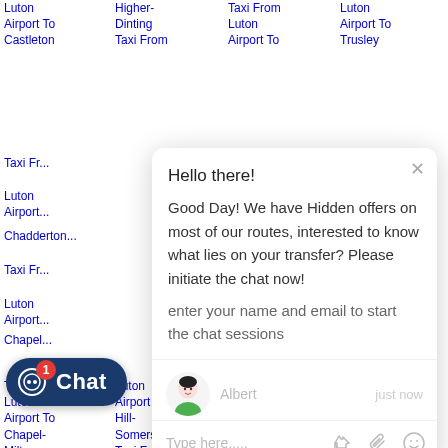Luton Airport To Castleton
Taxi Fr...
Luton Airport...
Chadde...
Taxi Fr...
Luton Airport...
Chapel...
Higher-Dinting Taxi From
Taxi From Luton Airport To
Luton Airport To Trusley
[Figure (screenshot): Live chat popup widget with greeting message from Albert agent. Shows message: 'Hello there! Good Day! We have Hidden offers on most of our routes, interested to know what lies on your transfer? Please initiate the chat now! enter your name and email to start the chat sessions' with text input field and icons.]
Taxi From Luton Airport To Chapel-Milton
Airport To
Taxi From
Luton
Luton Airport To Chapel-Milton
Luton Airport To Hill-Somersal Taxi Fr...
Ockbrook Taxi From Luton Airport To Offste...
Taxi From Luton Airport To Turnditch Taxi F...
Chat